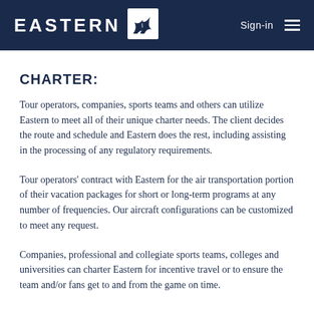EASTERN Sign-in
CHARTER:
Tour operators, companies, sports teams and others can utilize Eastern to meet all of their unique charter needs. The client decides the route and schedule and Eastern does the rest, including assisting in the processing of any regulatory requirements.
Tour operators' contract with Eastern for the air transportation portion of their vacation packages for short or long-term programs at any number of frequencies. Our aircraft configurations can be customized to meet any request.
Companies, professional and collegiate sports teams, colleges and universities can charter Eastern for incentive travel or to ensure the team and/or fans get to and from the game on time.